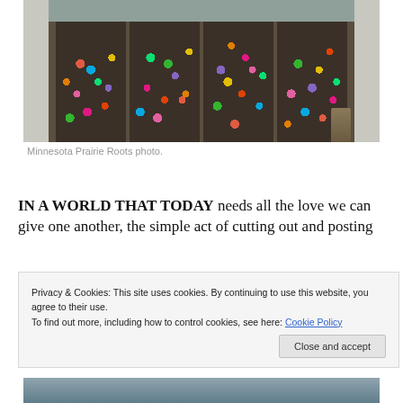[Figure (photo): Exterior entrance of a building with large doors decorated with colorful paper hearts in pink, blue, orange, green, yellow and other colors. Stone columns flank the entrance. A trash can is visible on the right side.]
Minnesota Prairie Roots photo.
IN A WORLD THAT TODAY needs all the love we can give one another, the simple act of cutting out and posting
Privacy & Cookies: This site uses cookies. By continuing to use this website, you agree to their use.
To find out more, including how to control cookies, see here: Cookie Policy
[Figure (photo): Partial view of another building exterior, cropped at bottom of page.]